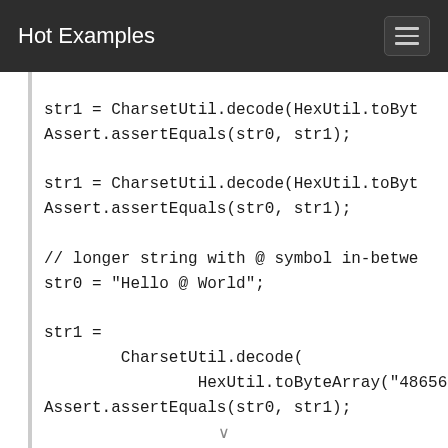Hot Examples
str1 = CharsetUtil.decode(HexUtil.toByt
Assert.assertEquals(str0, str1);

str1 = CharsetUtil.decode(HexUtil.toByt
Assert.assertEquals(str0, str1);

// longer string with @ symbol in-betwe
str0 = "Hello @ World";

str1 =
        CharsetUtil.decode(
                HexUtil.toByteArray("48656C6C6F
Assert.assertEquals(str0, str1);

str1 =
        CharsetUtil.decode(